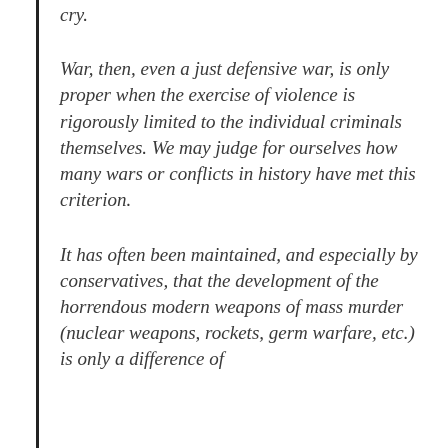cry.
War, then, even a just defensive war, is only proper when the exercise of violence is rigorously limited to the individual criminals themselves. We may judge for ourselves how many wars or conflicts in history have met this criterion.
It has often been maintained, and especially by conservatives, that the development of the horrendous modern weapons of mass murder (nuclear weapons, rockets, germ warfare, etc.) is only a difference of